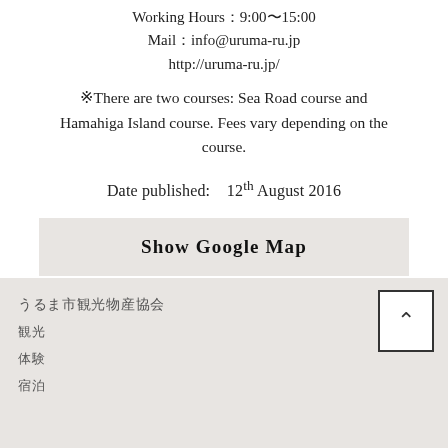Working Hours：9:00〜15:00
Mail：info@uruma-ru.jp
http://uruma-ru.jp/
※There are two courses: Sea Road course and Hamahiga Island course. Fees vary depending on the course.
Date published:    12th August 2016
[Figure (other): Show Google Map button]
うるま市観光物産協会
観光
体験
宿泊
[Figure (other): Back to top arrow button]